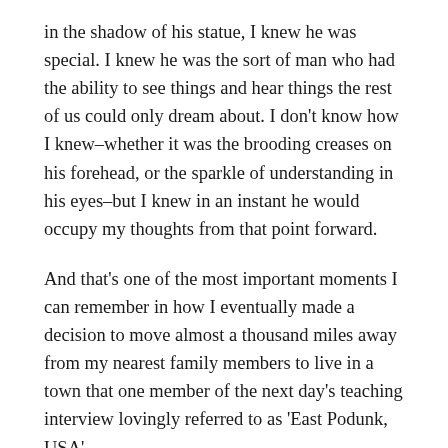in the shadow of his statue, I knew he was special. I knew he was the sort of man who had the ability to see things and hear things the rest of us could only dream about. I don't know how I knew–whether it was the brooding creases on his forehead, or the sparkle of understanding in his eyes–but I knew in an instant he would occupy my thoughts from that point forward.
And that's one of the most important moments I can remember in how I eventually made a decision to move almost a thousand miles away from my nearest family members to live in a town that one member of the next day's teaching interview lovingly referred to as 'East Podunk, USA'.
See, John Coltrane does not only epitomize everything that is good and important and passionate about jazz...